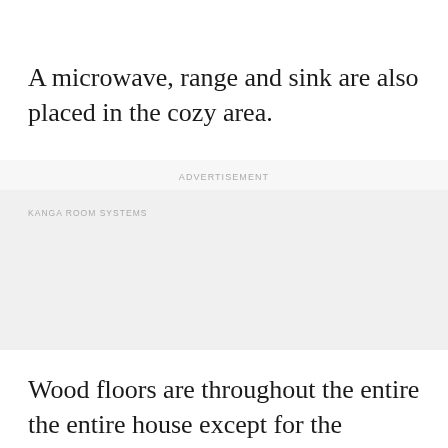A microwave, range and sink are also placed in the cozy area.
ADVERTISEMENT
KANGA ROOM SYSTEMS
Wood floors are throughout the entire the entire house except for the bathroom.